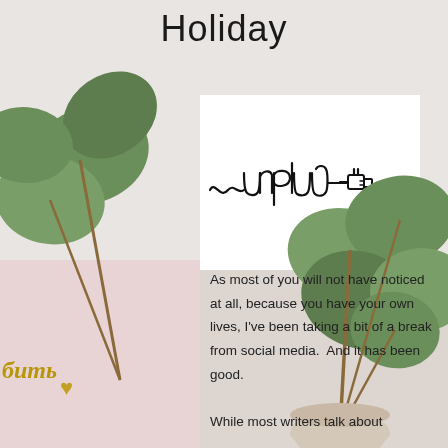Holiday
[Figure (illustration): White rectangle containing hand-drawn cursive word 'unplug' with a power plug icon on the right end, black line art on white background]
[Figure (photo): Eucalyptus plant with round green leaves on stems in a white ceramic pot, photographed against a light textured background with pink section on lower left]
As most of you will not have noticed at all, because you have your own lives, I've been taking a bit of a break from social media.  And it has been good.
While most writers talk about